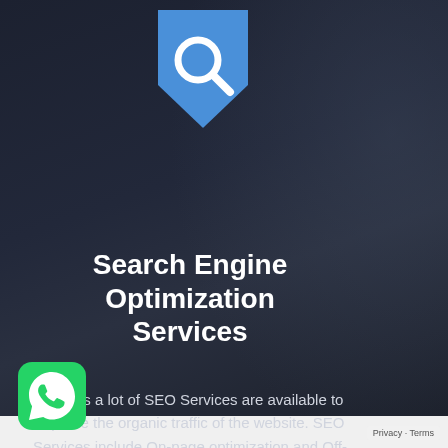[Figure (logo): Blue shield/badge shaped icon with white magnifying glass (search) symbol]
Search Engine Optimization Services
There is a lot of SEO Services are available to improve the organic traffic of the website. SEO Services include On-page optimization and Off-page optimization.
[Figure (logo): Green WhatsApp icon with white phone/chat bubble symbol]
Privacy · Terms